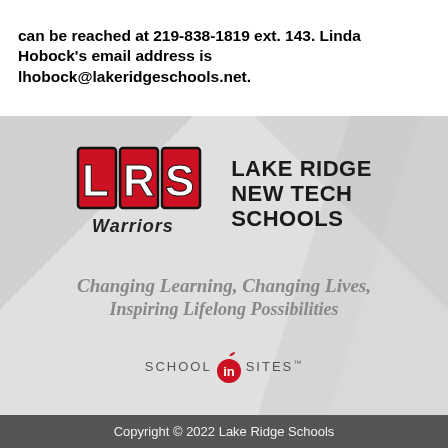can be reached at 219-838-1819 ext. 143. Linda Hobock's email address is lhobock@lakeridgeschools.net.
[Figure (logo): Lake Ridge New Tech Schools LRS Warriors logo with school name and tagline 'Changing Learning, Changing Lives, Inspiring Lifelong Possibilities' and SchoolInSites branding]
Copyright © 2022 Lake Ridge Schools